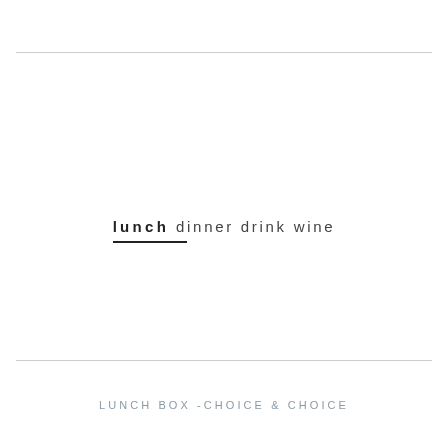lunch dinner drink wine
LUNCH BOX -CHOICE & CHOICE